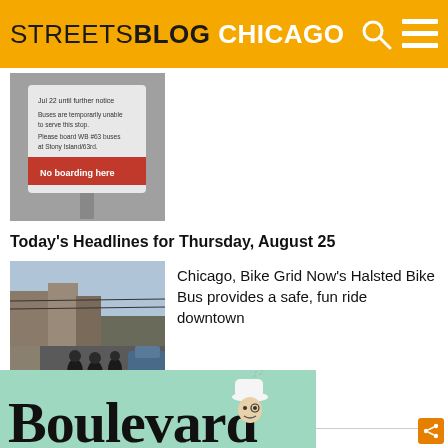STREETSBLOG CHICAGO
[Figure (photo): Bus stop sign reading 'No boarding here' with text about buses being temporarily unable to serve this stop, Jul 22 until further notice, please board WB #63 buses at Stony Island/63rd.]
Today's Headlines for Thursday, August 25
[Figure (photo): Cyclists riding in a group on Halsted Street during the Bike Bus event, with cars parked on the right and storefronts visible on the left.]
Chicago, Bike Grid Now's Halsted Bike Bus provides a safe, fun ride downtown
[Figure (illustration): Boulevard advertisement banner with illustrated character wearing chef hat, on a green/teal background.]